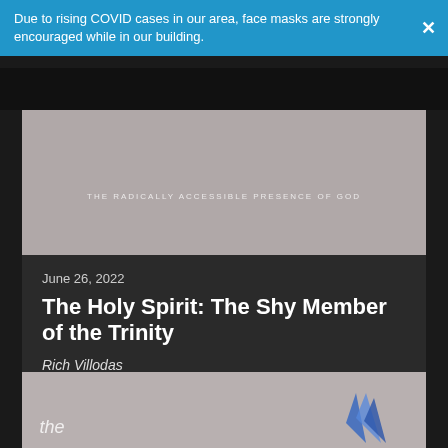Due to rising COVID cases in our area, face masks are strongly encouraged while in our building.
[Figure (photo): Sermon series artwork with subtitle 'THE RADICALLY ACCESSIBLE PRESENCE OF GOD' on a muted brownish-gray background]
June 26, 2022
The Holy Spirit: The Shy Member of the Trinity
Rich Villodas
WATCH
[Figure (photo): Partial view of another sermon series artwork with blue crystal graphic and partial text 'the' on gray background]